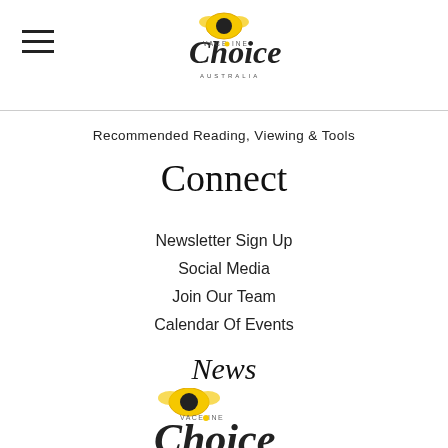Vaccine Choice Australia logo and hamburger menu
Recommended Reading, Viewing & Tools
Connect
Newsletter Sign Up
Social Media
Join Our Team
Calendar Of Events
News
[Figure (logo): Vaccine Choice Australia logo (partial, bottom of page)]